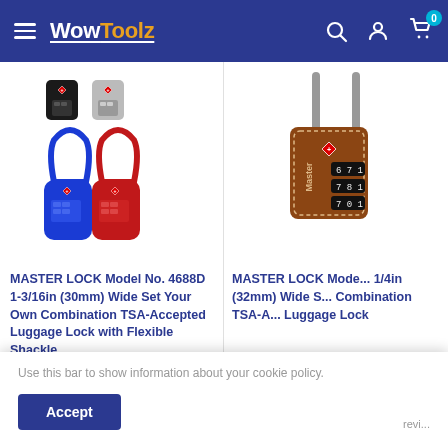WowToolz
[Figure (photo): Four Master Lock combination luggage locks: black and silver traditional padlocks on top, blue and red flexible shackle locks on bottom]
MASTER LOCK Model No. 4688D 1-3/16in (30mm) Wide Set Your Own Combination TSA-Accepted Luggage Lock with Flexible Shackle
[Figure (photo): Master Lock brown leather combination TSA luggage padlock with numbers 671, 781, 781 visible on dials]
MASTER LOCK Mode... 1/4in (32mm) Wide S... Combination TSA-A... Luggage Lock
Use this bar to show information about your cookie policy.
Accept